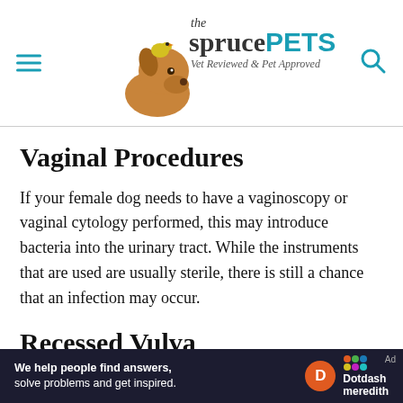the spruce PETS — Vet Reviewed & Pet Approved
Vaginal Procedures
If your female dog needs to have a vaginoscopy or vaginal cytology performed, this may introduce bacteria into the urinary tract. While the instruments that are used are usually sterile, there is still a chance that an infection may occur.
Recessed Vulva
Some female dogs are born with a slight
[Figure (logo): Dotdash Meredith advertisement banner: 'We help people find answers, solve problems and get inspired.' with Dotdash Meredith logo]